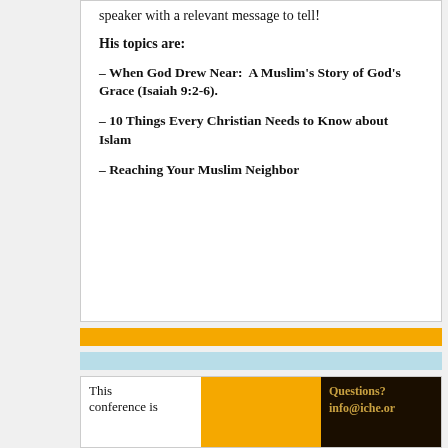speaker with a relevant message to tell!
His topics are:
– When God Drew Near:  A Muslim's Story of God's Grace (Isaiah 9:2-6).
– 10 Things Every Christian Needs to Know about Islam
– Reaching Your Muslim Neighbor
This conference is
Questions? info@iche.or